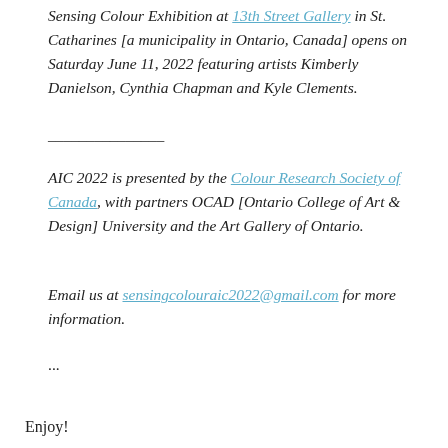Sensing Colour Exhibition at 13th Street Gallery in St. Catharines [a municipality in Ontario, Canada] opens on Saturday June 11, 2022 featuring artists Kimberly Danielson, Cynthia Chapman and Kyle Clements.
_______________
AIC 2022 is presented by the Colour Research Society of Canada, with partners OCAD [Ontario College of Art & Design] University and the Art Gallery of Ontario.
Email us at sensingcolouraic2022@gmail.com for more information.
...
Enjoy!